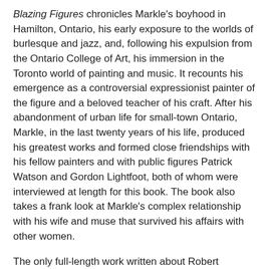Blazing Figures chronicles Markle's boyhood in Hamilton, Ontario, his early exposure to the worlds of burlesque and jazz, and, following his expulsion from the Ontario College of Art, his immersion in the Toronto world of painting and music. It recounts his emergence as a controversial expressionist painter of the figure and a beloved teacher of his craft. After his abandonment of urban life for small-town Ontario, Markle, in the last twenty years of his life, produced his greatest works and formed close friendships with his fellow painters and with public figures Patrick Watson and Gordon Lightfoot, both of whom were interviewed at length for this book. The book also takes a frank look at Markle's complex relationship with his wife and muse that survived his affairs with other women.
The only full-length work written about Robert Markle's life and career, Blazing Figures is based on Markle's copious personal notes and numerous interviews with his family, friends, colleagues, and former students. This snapshot of Canadian cultural history will be of interest to scholars of art history,